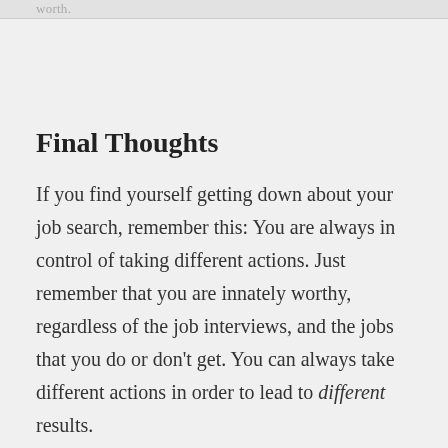worth.
Final Thoughts
If you find yourself getting down about your job search, remember this: You are always in control of taking different actions. Just remember that you are innately worthy, regardless of the job interviews, and the jobs that you do or don't get. You can always take different actions in order to lead to different results.